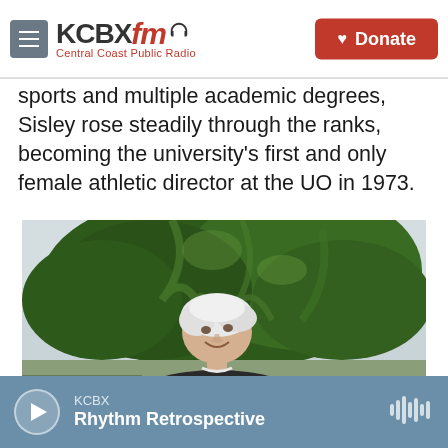KCBX FM Central Coast Public Radio — Donate
sports and multiple academic degrees, Sisley rose steadily through the ranks, becoming the university's first and only female athletic director at the UO in 1973.
[Figure (photo): Older woman with short white hair smiling outdoors, with green trees in the background]
KCBX — Rhythm Retrospective (audio player bar)